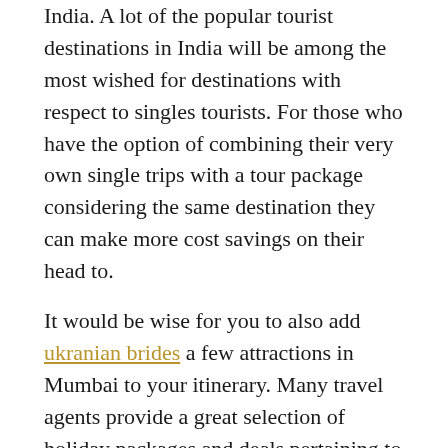India. A lot of the popular tourist destinations in India will be among the most wished for destinations with respect to singles tourists. For those who have the option of combining their very own single trips with a tour package considering the same destination they can make more cost savings on their head to.
It would be wise for you to also add ukranian brides a few attractions in Mumbai to your itinerary. Many travel agents provide a great selection of holiday packages and deals pertaining to the travelers. They offer bargains to the travellers who wish to currently have single visits. A great factor about the break package deals is the fact, it helps holidaymakers to save their hard earned money. These types of packages involve accommodation, shipping, food and other services. All these services are offered at cost-effective rates to get single travellers who love to travel alone. Single visitors in India can enjoy multiple visits for many years to arrive so it is do not a problem to identify a